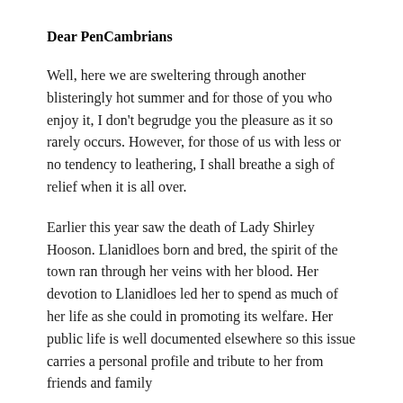Dear PenCambrians
Well, here we are sweltering through another blisteringly hot summer and for those of you who enjoy it, I don't begrudge you the pleasure as it so rarely occurs. However, for those of us with less or no tendency to leathering, I shall breathe a sigh of relief when it is all over.
Earlier this year saw the death of Lady Shirley Hooson. Llanidloes born and bred, the spirit of the town ran through her veins with her blood. Her devotion to Llanidloes led her to spend as much of her life as she could in promoting its welfare. Her public life is well documented elsewhere so this issue carries a personal profile and tribute to her from friends and family